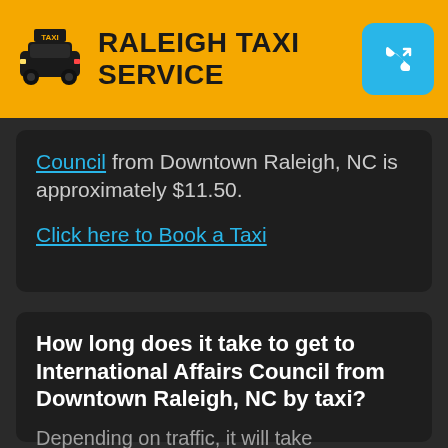RALEIGH TAXI SERVICE
Council from Downtown Raleigh, NC is approximately $11.50.

Click here to Book a Taxi
How long does it take to get to International Affairs Council from Downtown Raleigh, NC by taxi?
Depending on traffic, it will take approximately 8 minutes to get to International Affairs Council from Downtown Raleigh, NC by taxi